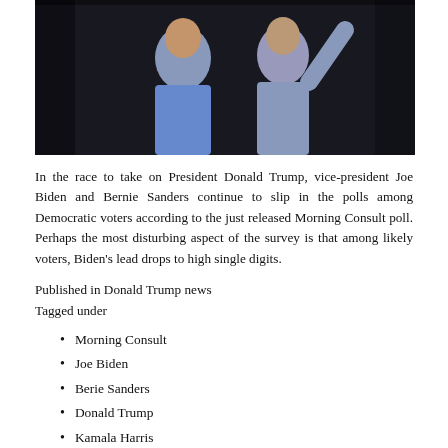[Figure (photo): Two men (Biden and Sanders) photographed together against a dark background]
In the race to take on President Donald Trump, vice-president Joe Biden and Bernie Sanders continue to slip in the polls among Democratic voters according to the just released Morning Consult poll. Perhaps the most disturbing aspect of the survey is that among likely voters, Biden's lead drops to high single digits.
Published in Donald Trump news
Tagged under
Morning Consult
Joe Biden
Berie Sanders
Donald Trump
Kamala Harris
Elizabeth Warren